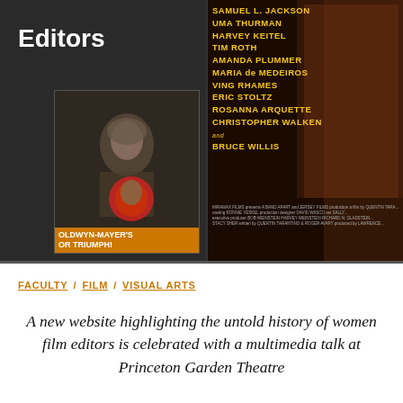[Figure (photo): Hero image showing two film posters: left side shows a dark panel with 'Editors' text in bold white and a vintage film poster with orange banner text 'GOLDWYN-MAYER'S HOUR OF TRIUMPH'; right side shows the Pulp Fiction movie poster cast list in yellow text on dark background including Samuel L. Jackson, Uma Thurman, Harvey Keitel, Tim Roth, Amanda Plummer, Maria de Medeiros, Ving Rhames, Eric Stoltz, Rosanna Arquette, Christopher Walken and Bruce Willis, with a woman figure visible on the right]
FACULTY / FILM / VISUAL ARTS
A new website highlighting the untold history of women film editors is celebrated with a multimedia talk at Princeton Garden Theatre